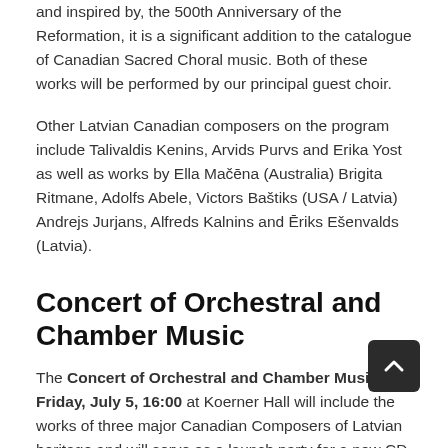and inspired by, the 500th Anniversary of the Reformation, it is a significant addition to the catalogue of Canadian Sacred Choral music. Both of these works will be performed by our principal guest choir.
Other Latvian Canadian composers on the program include Talivaldis Kenins, Arvids Purvs and Erika Yost as well as works by Ella Mačēna (Australia) Brigita Ritmane, Adolfs Abele, Victors Baštiks (USA / Latvia) Andrejs Jurjans, Alfreds Kalnins and Ēriks Ešenvalds (Latvia).
Concert of Orchestral and Chamber Music
The Concert of Orchestral and Chamber Music on Friday, July 5, 16:00 at Koerner Hall will include the works of three major Canadian Composers of Latvian heritage and will serve as a launch party for a new CD being added to the Canadian Music Supervisors' repertoire, featuring Talivaldis Kenins and...